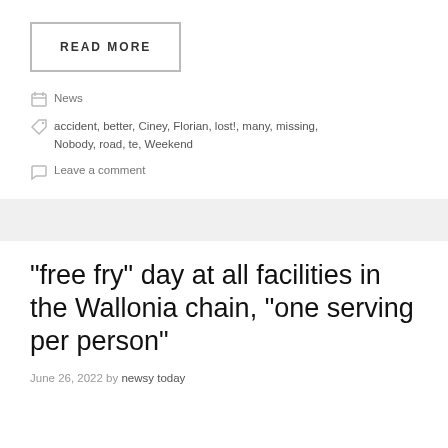READ MORE
News
accident, better, Ciney, Florian, lost!, many, missing, Nobody, road, te, Weekend
Leave a comment
“free fry” day at all facilities in the Wallonia chain, “one serving per person”
June 26, 2022 by newsy today